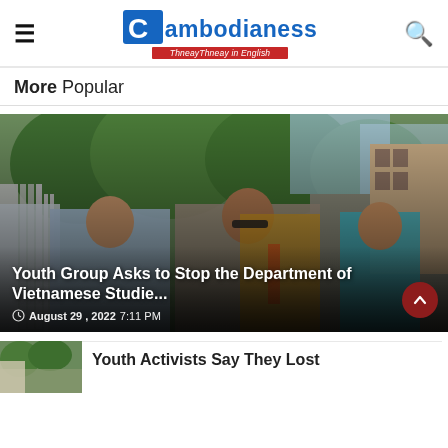Cambodianess — ThneayThneay in English
More Popular
[Figure (photo): Group of young Cambodian activists standing on a sidewalk near a gate and street, some holding papers, with trees and buildings in the background.]
Youth Group Asks to Stop the Department of Vietnamese Studie...
August 29, 2022 7:11 PM
[Figure (photo): Thumbnail image for Youth Activists article at bottom of page.]
Youth Activists Say They Lost